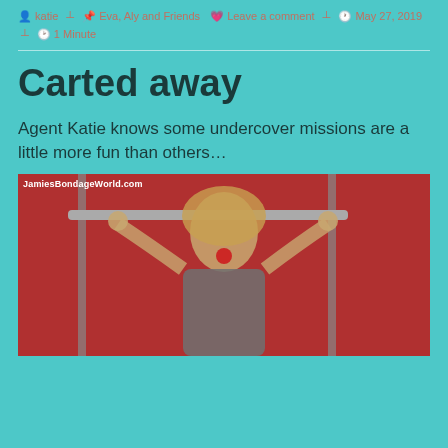katie  Eva, Aly and Friends  Leave a comment  May 27, 2019  1 Minute
Carted away
Agent Katie knows some undercover missions are a little more fun than others…
[Figure (photo): Woman with blonde hair, wearing a ball gag, bound to a metal cart/rack frame, against a red background. Watermark reads JamiesBondageWorld.com]